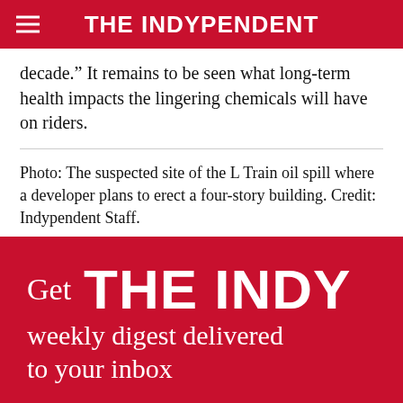THE INDYPENDENT
decade.” It remains to be seen what long-term health impacts the lingering chemicals will have on riders.
Photo: The suspected site of the L Train oil spill where a developer plans to erect a four-story building. Credit: Indypendent Staff.
[Figure (infographic): Red promotional banner reading 'Get THE INDY weekly digest delivered to your inbox']